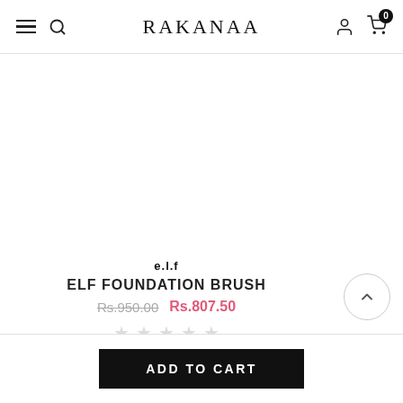RAKANAA
[Figure (photo): Product image area for ELF Foundation Brush - blank white area]
e.l.f
ELF FOUNDATION BRUSH
Rs.950.00  Rs.807.50